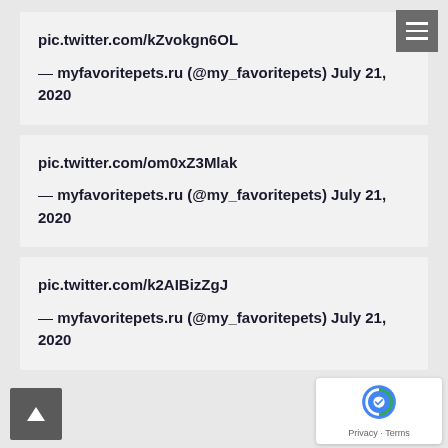pic.twitter.com/kZvokgn6OL
— myfavoritepets.ru (@my_favoritepets) July 21, 2020
pic.twitter.com/om0xZ3Mlak
— myfavoritepets.ru (@my_favoritepets) July 21, 2020
pic.twitter.com/k2AIBizZgJ
— myfavoritepets.ru (@my_favoritepets) July 21, 2020